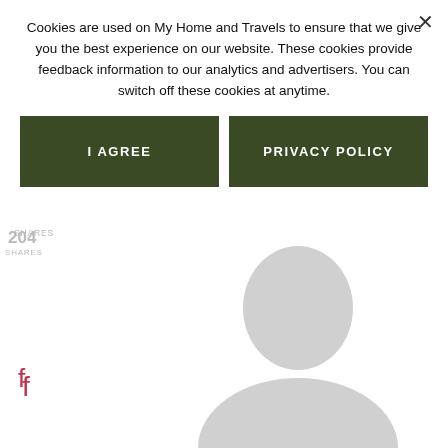Cookies are used on My Home and Travels to ensure that we give you the best experience on our website. These cookies provide feedback information to our analytics and advertisers. You can switch off these cookies at anytime.
I AGREE
PRIVACY POLICY
Reply
[Figure (illustration): Generic user avatar silhouette in light gray]
ROSEMARY@MYHOMEANDTRAVELS.COM says
MAY 19, 2015 AT 3:24 PM
Thanks – still a work in progress.
Reply
JENNE KOPALEK says
MAY 21, 2015 AT 9:15 AM
[Figure (photo): Black and white photo of a woman's face]